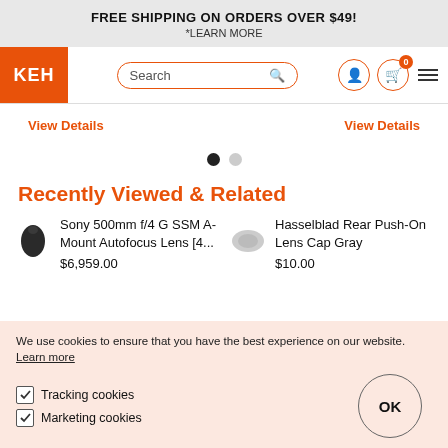FREE SHIPPING ON ORDERS OVER $49!
*LEARN MORE
[Figure (screenshot): KEH camera store navigation bar with logo, search box, user icon, cart icon with 0 badge, and hamburger menu]
View Details
View Details
[Figure (other): Two carousel dots, one filled black and one gray]
Recently Viewed & Related
Sony 500mm f/4 G SSM A-Mount Autofocus Lens [4...
$6,959.00
Hasselblad Rear Push-On Lens Cap Gray
$10.00
We use cookies to ensure that you have the best experience on our website. Learn more
Tracking cookies
Marketing cookies